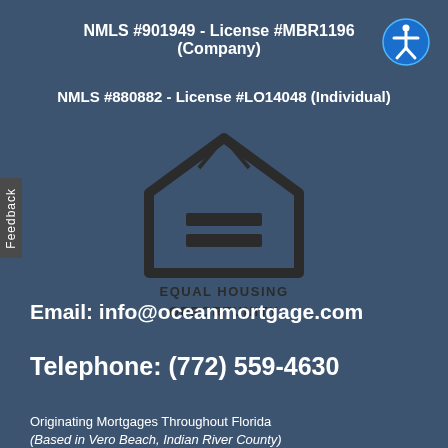NMLS #901949 - License #MBR1196 (Company)
NMLS #880882 - License #LO14048 (Individual)
[Figure (logo): Equal Housing Opportunity logo — house outline with equal sign inside, with text EQUAL HOUSING OPPORTUNITY below]
Email: info@oceanmortgage.com
Telephone: (772) 559-4630
Originating Mortgages Throughout Florida
(Based in Vero Beach, Indian River County)